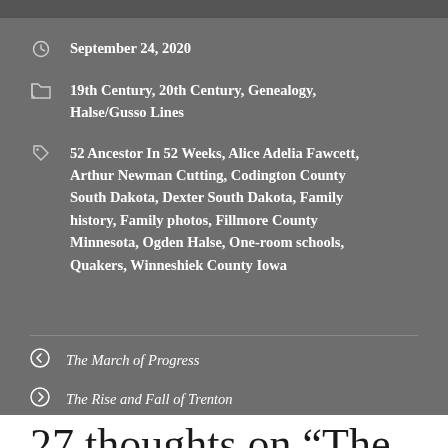September 24, 2020
19th Century, 20th Century, Genealogy, Halse/Gusso Lines
52 Ancestor In 52 Weeks, Alice Adelia Fawcett, Arthur Newman Cutting, Codington County South Dakota, Dexter South Dakota, Family history, Family photos, Fillmore County Minnesota, Ogden Halse, One-room schools, Quakers, Winneshiek County Iowa
The March of Progress
The Rise and Fall of Trenton
27 thoughts on “The Cutting School”